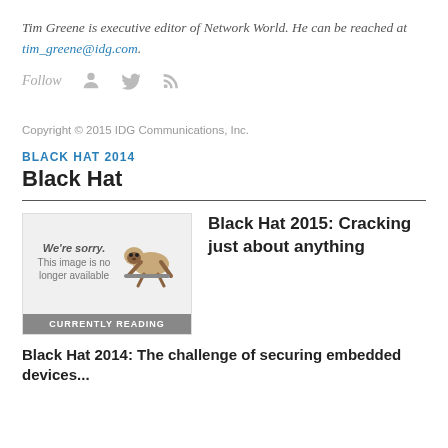Tim Greene is executive editor of Network World. He can be reached at tim_greene@idg.com.
Follow
Copyright © 2015 IDG Communications, Inc.
BLACK HAT 2014
Black Hat
[Figure (illustration): Thumbnail image placeholder showing 'We're sorry. This image is no longer available' with a sloth illustration, and a gray 'CURRENTLY READING' bar at the bottom]
Black Hat 2015: Cracking just about anything
Black Hat 2014: The challenge of securing embedded devices...